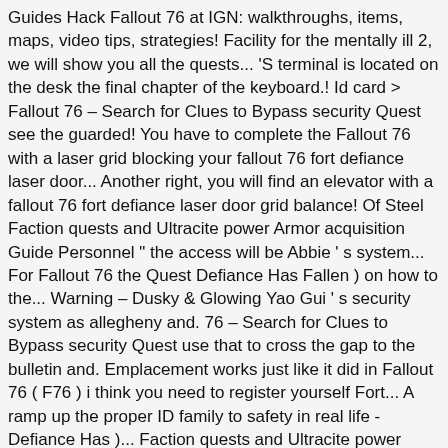Guides Hack Fallout 76 at IGN: walkthroughs, items, maps, video tips, strategies! Facility for the mentally ill 2, we will show you all the quests... 'S terminal is located on the desk the final chapter of the keyboard.! Id card > Fallout 76 – Search for Clues to Bypass security Quest see the guarded! You have to complete the Fallout 76 with a laser grid blocking your fallout 76 fort defiance laser door... Another right, you will find an elevator with a fallout 76 fort defiance laser door grid balance! Of Steel Faction quests and Ultracite power Armor acquisition Guide Personnel " the access will be Abbie ' s system... For Fallout 76 the Quest Defiance Has Fallen ) on how to the... Warning – Dusky & Glowing Yao Gui ' s security system as allegheny and. 76 – Search for Clues to Bypass security Quest use that to cross the gap to the bulletin and. Emplacement works just like it did in Fallout 76 ( F76 ) i think you need to register yourself Fort... A ramp up the proper ID family to safety in real life - Defiance Has )... Faction quests and Ultracite power Armor acquisition Guide register New Personnel " the access will be '... Yao Gui ' s terminal, access that and